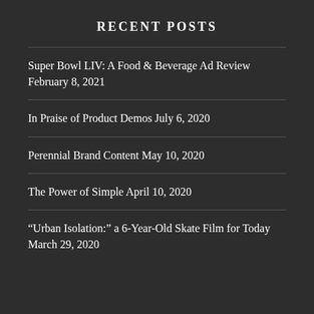RECENT POSTS
Super Bowl LIV: A Food & Beverage Ad Review February 8, 2021
In Praise of Product Demos July 6, 2020
Perennial Brand Content May 10, 2020
The Power of Simple April 10, 2020
“Urban Isolation:” a 6-Year-Old Skate Film for Today March 29, 2020